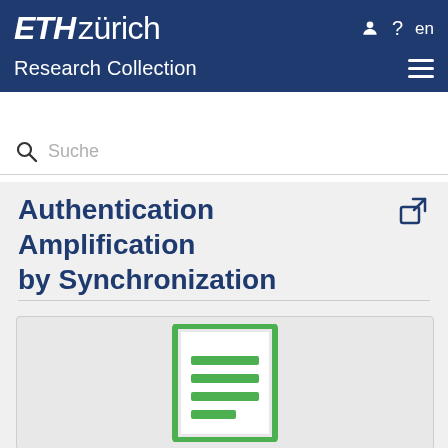ETH zürich — Research Collection
Authentication Amplification by Synchronization
[Figure (illustration): Document preview icon: a green-bordered rectangle with green horizontal lines representing text lines, on a light grey background]